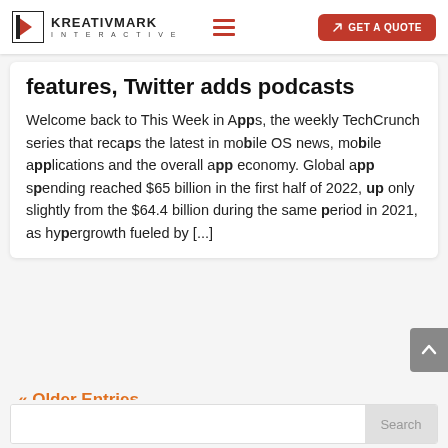KREATIVMARK INTERACTIVE — GET A QUOTE
features, Twitter adds podcasts
Welcome back to This Week in Apps, the weekly TechCrunch series that recaps the latest in mobile OS news, mobile applications and the overall app economy. Global app spending reached $65 billion in the first half of 2022, up only slightly from the $64.4 billion during the same period in 2021, as hypergrowth fueled by [...]
« Older Entries